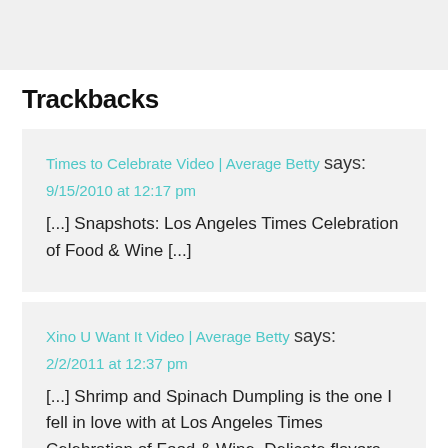Trackbacks
Times to Celebrate Video | Average Betty says:
9/15/2010 at 12:17 pm
[...] Snapshots: Los Angeles Times Celebration of Food & Wine [...]
Xino U Want It Video | Average Betty says:
2/2/2011 at 12:37 pm
[...] Shrimp and Spinach Dumpling is the one I fell in love with at Los Angeles Times Celebration of Food & Wine. Delicate flavors are